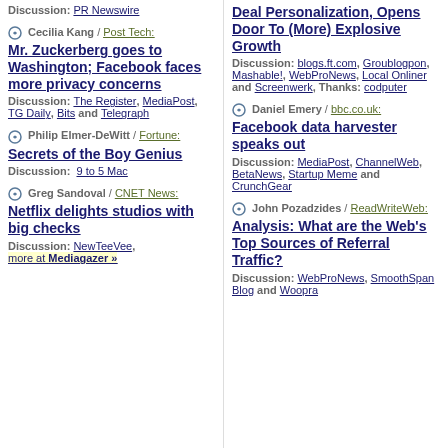Discussion: PR Newswire
Cecilia Kang / Post Tech: Mr. Zuckerberg goes to Washington; Facebook faces more privacy concerns. Discussion: The Register, MediaPost, TG Daily, Bits and Telegraph
Philip Elmer-DeWitt / Fortune: Secrets of the Boy Genius. Discussion: 9 to 5 Mac
Greg Sandoval / CNET News: Netflix delights studios with big checks. Discussion: NewTeeVee, more at Mediagazer »
Deal Personalization, Opens Door To (More) Explosive Growth. Discussion: blogs.ft.com, Groublogpon, Mashable!, WebProNews, Local Onliner and Screenwerk, Thanks: codputer
Daniel Emery / bbc.co.uk: Facebook data harvester speaks out. Discussion: MediaPost, ChannelWeb, BetaNews, Startup Meme and CrunchGear
John Pozadzides / ReadWriteWeb: Analysis: What are the Web's Top Sources of Referral Traffic?. Discussion: WebProNews, SmoothSpan Blog and Woopra